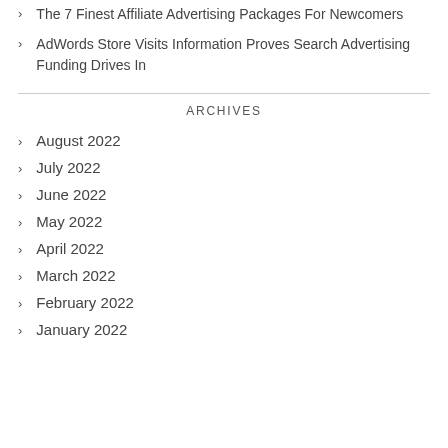The 7 Finest Affiliate Advertising Packages For Newcomers
AdWords Store Visits Information Proves Search Advertising Funding Drives In
ARCHIVES
August 2022
July 2022
June 2022
May 2022
April 2022
March 2022
February 2022
January 2022